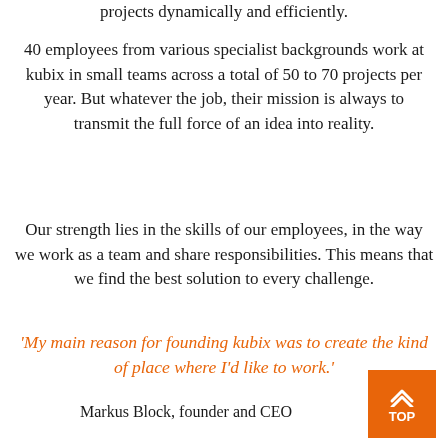projects dynamically and efficiently.
40 employees from various specialist backgrounds work at kubix in small teams across a total of 50 to 70 projects per year. But whatever the job, their mission is always to transmit the full force of an idea into reality.
Our strength lies in the skills of our employees, in the way we work as a team and share responsibilities. This means that we find the best solution to every challenge.
‘My main reason for founding kubix was to create the kind of place where I’d like to work.’
Markus Block, founder and CEO